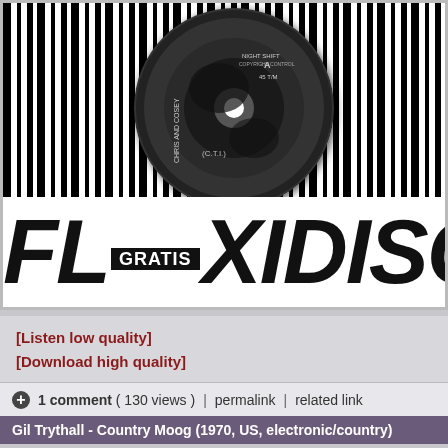[Figure (photo): Black and white flexidisc album cover with vertical barcode stripes in background, a vinyl record in the center top area labeled 'NIGHT SHIFT COPYRIGHT CONTROL', 'CHRIS AND COSEY', 'A 45 T/M', '(C.T.I.)', and large italic text at bottom reading 'FLEXIDISC' with a black 'GRATIS' badge inset]
[Listen low quality]
[Download high quality]
1 comment ( 130 views )  |  permalink  |  related link
Gil Trythall - Country Moog (1970, US, electronic/country)